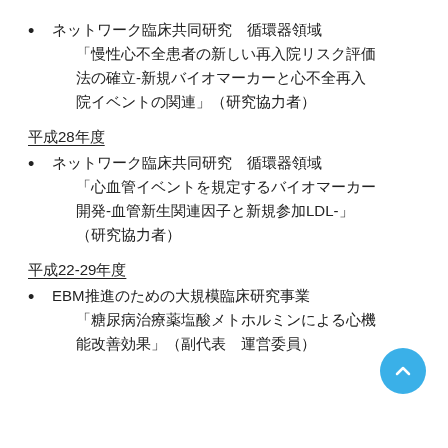ネットワーク臨床共同研究　循環器領域「慢性心不全患者の新しい再入院リスク評価法の確立‐新規バイオマーカーと心不全再入院イベントの関連」（研究協力者）
平成28年度
ネットワーク臨床共同研究　循環器領域「心血管イベントを規定するバイオマーカー開発-血管新生関連因子と新規参加LDL-」（研究協力者）
平成22-29年度
EBM推進のための大規模臨床研究事業「糖尿病治療薬塩酸メトホルミンによる心機能改善効果」（副代表　運営委員）